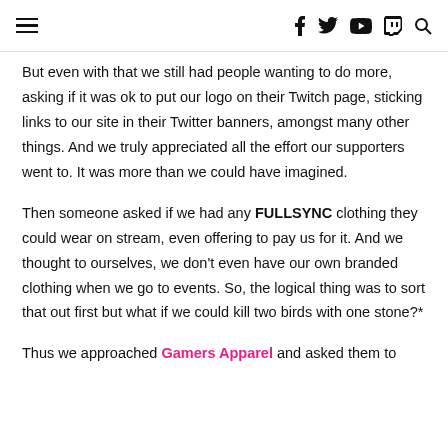≡  f  twitter  youtube  twitch  search
But even with that we still had people wanting to do more, asking if it was ok to put our logo on their Twitch page, sticking links to our site in their Twitter banners, amongst many other things. And we truly appreciated all the effort our supporters went to. It was more than we could have imagined.
Then someone asked if we had any FULLSYNC clothing they could wear on stream, even offering to pay us for it. And we thought to ourselves, we don't even have our own branded clothing when we go to events. So, the logical thing was to sort that out first but what if we could kill two birds with one stone?*
Thus we approached Gamers Apparel and asked them to